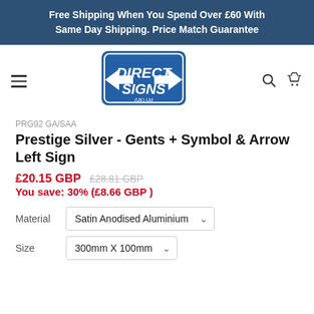Free Shipping When You Spend Over £60 With Same Day Shipping. Price Match Guarantee
[Figure (logo): Direct Signs (UK) Ltd logo — blue shield/arrow shape with white text]
PRG92 GA/SAA
Prestige Silver - Gents + Symbol & Arrow Left Sign
£20.15 GBP £28.81 GBP
You save: 30% (£8.66 GBP )
Material: Satin Anodised Aluminium
Size: 300mm X 100mm